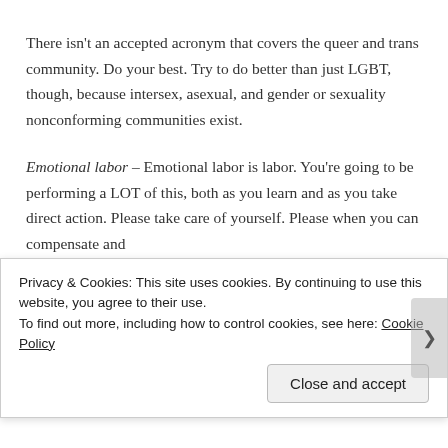There isn't an accepted acronym that covers the queer and trans community. Do your best. Try to do better than just LGBT, though, because intersex, asexual, and gender or sexuality nonconforming communities exist.
Emotional labor – Emotional labor is labor. You're going to be performing a LOT of this, both as you learn and as you take direct action. Please take care of yourself. Please when you can compensate and
Privacy & Cookies: This site uses cookies. By continuing to use this website, you agree to their use.
To find out more, including how to control cookies, see here: Cookie Policy